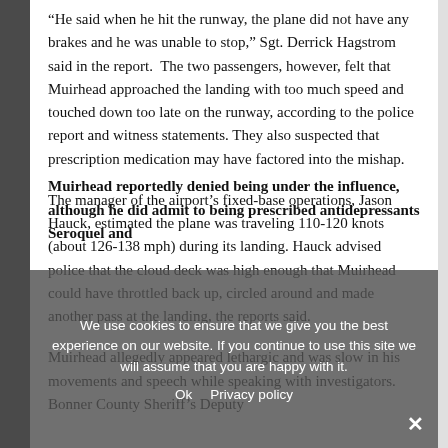“He said when he hit the runway, the plane did not have any brakes and he was unable to stop,” Sgt. Derrick Hagstrom said in the report.  The two passengers, however, felt that Muirhead approached the landing with too much speed and touched down too late on the runway, according to the police report and witness statements. They also suspected that prescription medication may have factored into the mishap.
The manager of the airport's fixed-base operations, Jason Hauck, estimated the plane was traveling 110-120 knots (about 126-138 mph) during its landing. Hauck advised police that the cloud deck was high enough that Muirhead could have throttled back up, circled around and made another pass at the landing, the reports said.
Muirhead allegedly appeared lethargic and was slow in his movements and speech while speaking with investigators. Bonner County Sheriff’s Deputy ...
Muirhead reportedly denied being under the influence, although he did admit to being prescribed antidepressants Seroquel and
We use cookies to ensure that we give you the best experience on our website. If you continue to use this site we will assume that you are happy with it.